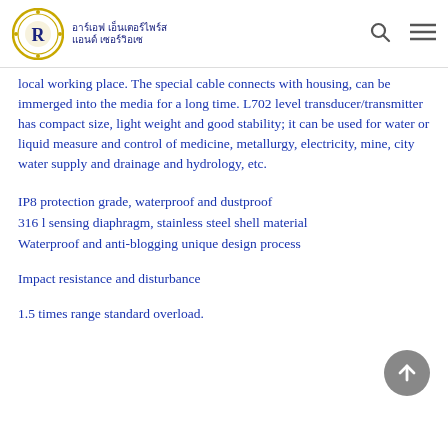อาร์เอฟ เอ็นเตอร์ไพร์ส แอนด์ เซอร์วิอเซ
local working place. The special cable connects with housing, can be immerged into the media for a long time. L702 level transducer/transmitter has compact size, light weight and good stability; it can be used for water or liquid measure and control of medicine, metallurgy, electricity, mine, city water supply and drainage and hydrology, etc.
IP8 protection grade, waterproof and dustproof
316 l sensing diaphragm, stainless steel shell material
Waterproof and anti-blogging unique design process
Impact resistance and disturbance
1.5 times range standard overload.